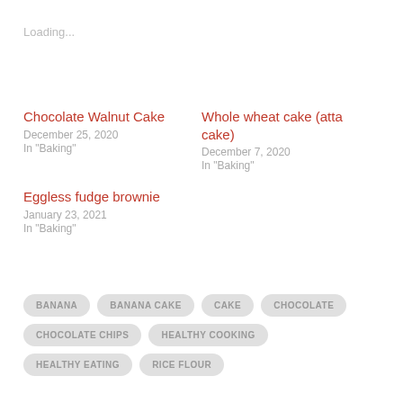Loading...
Chocolate Walnut Cake
December 25, 2020
In "Baking"
Whole wheat cake (atta cake)
December 7, 2020
In "Baking"
Eggless fudge brownie
January 23, 2021
In "Baking"
BANANA
BANANA CAKE
CAKE
CHOCOLATE
CHOCOLATE CHIPS
HEALTHY COOKING
HEALTHY EATING
RICE FLOUR